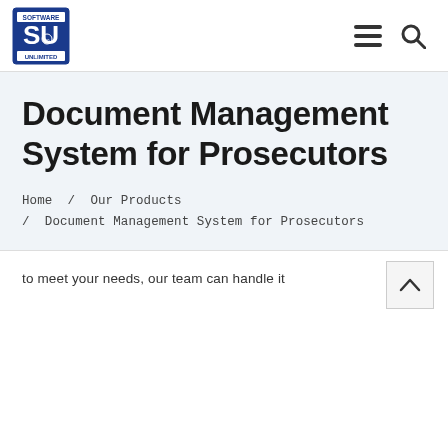Software Unlimited logo, menu icon, search icon
Document Management System for Prosecutors
Home / Our Products / Document Management System for Prosecutors
to meet your needs, our team can handle it